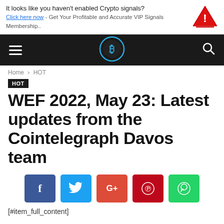It looks like you haven't enabled Crypto signals? Click here now - Get Your Profitable and Accurate VIP Signals Membership..
[Figure (logo): Bitcoin/crypto website logo - circular blue Bitcoin symbol on black background in navbar]
Home › HOT
HOT
WEF 2022, May 23: Latest updates from the Cointelegraph Davos team
[Figure (infographic): Social share buttons: Facebook (blue), Twitter (light blue), Google+ (red-orange), Pinterest (dark red), WhatsApp (green)]
[#item_full_content]